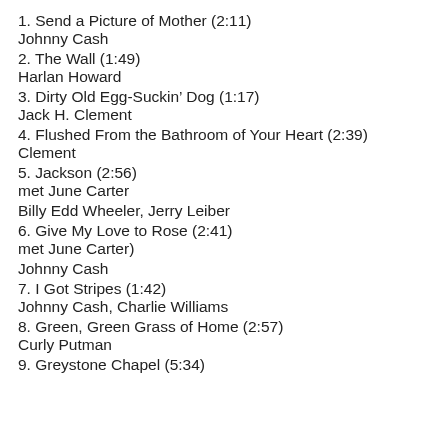1. Send a Picture of Mother (2:11)
Johnny Cash
2. The Wall (1:49)
Harlan Howard
3. Dirty Old Egg-Suckin’ Dog (1:17)
Jack H. Clement
4. Flushed From the Bathroom of Your Heart (2:39)
Clement
5. Jackson (2:56)
met June Carter
Billy Edd Wheeler, Jerry Leiber
6. Give My Love to Rose (2:41)
met June Carter)
Johnny Cash
7. I Got Stripes (1:42)
Johnny Cash, Charlie Williams
8. Green, Green Grass of Home (2:57)
Curly Putman
9. Greystone Chapel (5:34)